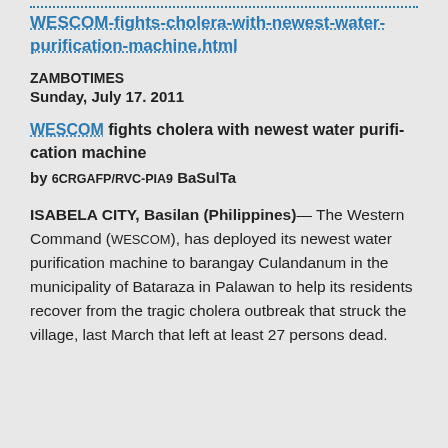WESCOM-fights-cholera-with-newest-water-purification-machine.html
ZAMBOTIMES
Sunday, July 17. 2011
WESCOM fights cholera with newest water purification machine
by 6CRGAFP/RVC-PIA9 BaSulTa
ISABELA CITY, Basilan (Philippines)— The Western Command (WESCOM), has deployed its newest water purification machine to barangay Culandanum in the municipality of Bataraza in Palawan to help its residents recover from the tragic cholera outbreak that struck the village, last March that left at least 27 persons dead.